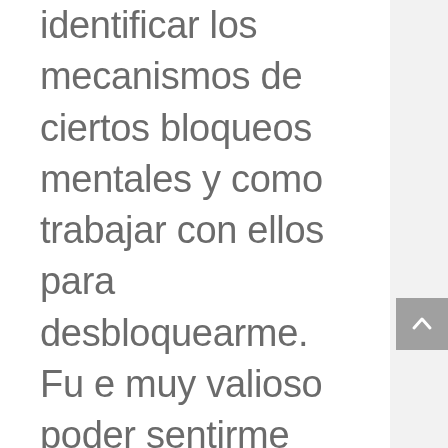identificar los mecanismos de ciertos bloqueos mentales y como trabajar con ellos para desbloquearme.  Fu e muy valioso poder sentirme siempre contenida, comprendida y guiada con una mirada profesional y de compasión.